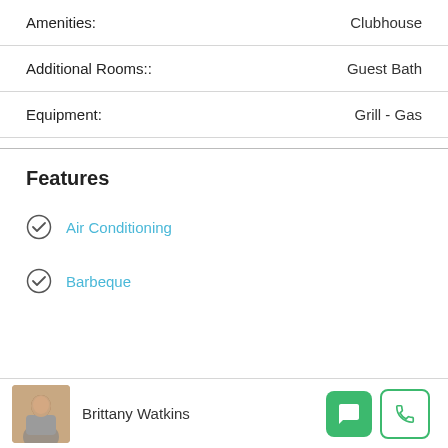Amenities: Clubhouse
Additional Rooms:: Guest Bath
Equipment: Grill - Gas
Features
Air Conditioning
Barbeque
Brittany Watkins